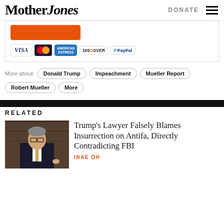Mother Jones | DONATE
[Figure (other): Payment widget with orange donate button and credit card logos: VISA, MasterCard, American Express, Discover, PayPal]
More about: Donald Trump  Impeachment  Mueller Report  Robert Mueller  More
RELATED
[Figure (photo): Photo of a man in a suit and gold tie speaking at a podium, appears to be in a formal hearing room with dark marble background]
Trump's Lawyer Falsely Blames Insurrection on Antifa, Directly Contradicting FBI
INAE OH